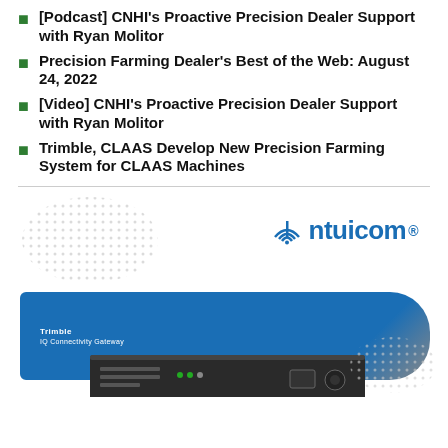[Podcast] CNHI's Proactive Precision Dealer Support with Ryan Molitor
Precision Farming Dealer's Best of the Web: August 24, 2022
[Video] CNHI's Proactive Precision Dealer Support with Ryan Molitor
Trimble, CLAAS Develop New Precision Farming System for CLAAS Machines
[Figure (illustration): Intuicom advertisement showing the Intuicom logo, a blue rectangular banner with Trimble branding, and a hardware networking device at the bottom with dot pattern decorations]